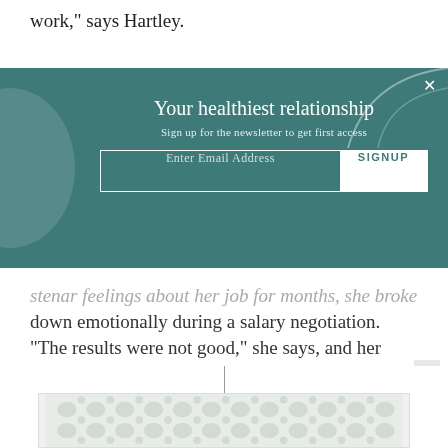work,” says Hartley.
[Figure (infographic): Teal newsletter signup banner with title 'Your healthiest relationship', subtitle 'Sign up for the newsletter to get first access', email input field and SIGNUP button, decorative circle on left and curved line at top right, X close button.]
stenar feelings about her job for months, she broke down emotionally during a salary negotiation. “The results were not good,” she says, and her concerned bosses suggested she see a therapist.
[Figure (infographic): Advertisement unit: vertical line above a rectangular box with a decorative grey pattern (circles/ovals) background. An X close button appears to the right.]